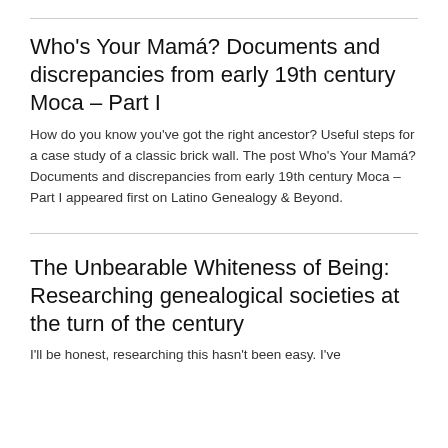Who's Your Mamá? Documents and discrepancies from early 19th century Moca – Part I
How do you know you've got the right ancestor? Useful steps for a case study of a classic brick wall. The post Who's Your Mamá? Documents and discrepancies from early 19th century Moca – Part I appeared first on Latino Genealogy & Beyond.
The Unbearable Whiteness of Being: Researching genealogical societies at the turn of the century
I'll be honest, researching this hasn't been easy. I've